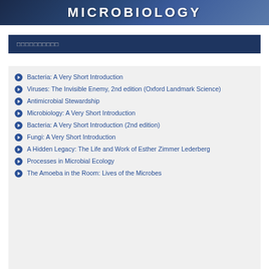[Figure (illustration): Dark blue gradient banner with the word MICROBIOLOGY in white uppercase bold letters]
□□□□□□□□□□
Bacteria: A Very Short Introduction
Viruses: The Invisible Enemy, 2nd edition (Oxford Landmark Science)
Antimicrobial Stewardship
Microbiology: A Very Short Introduction
Bacteria: A Very Short Introduction (2nd edition)
Fungi: A Very Short Introduction
A Hidden Legacy: The Life and Work of Esther Zimmer Lederberg
Processes in Microbial Ecology
The Amoeba in the Room: Lives of the Microbes